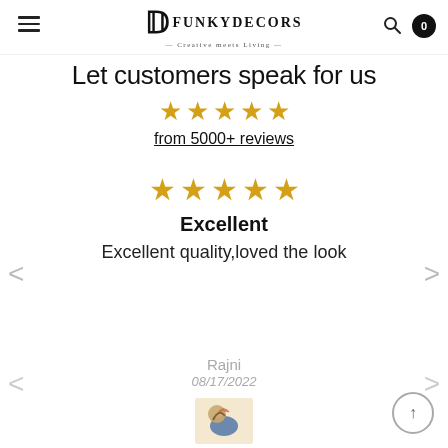FunkyDecors — Creative meets Living
Let customers speak for us
★★★★★ from 5000+ reviews
★★★★★ Excellent — Excellent quality,loved the look
Rajni 08/17/2022
[Figure (photo): Small product image thumbnail showing a decorative item]